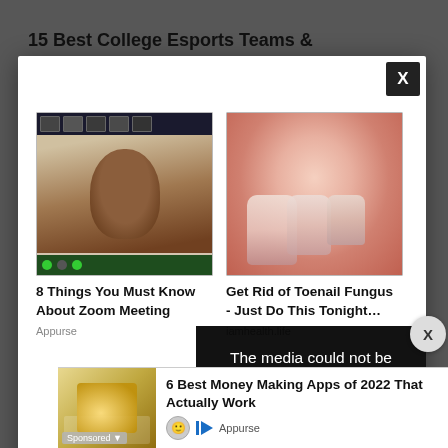15 Best College Esports Teams & Programs | 2023 Ranking
[Figure (screenshot): Modal popup with two advertisement cards. Left card shows a woman on a Zoom video call with title '8 Things You Must Know About Zoom Meeting' from Appurse. Right card shows toenail fungus image with title 'Get Rid of Toenail Fungus - Just Do This Tonight…' from iamhealth.life. An error message overlay reads 'The media could not be loaded, either because the server or network failed or because the']
[Figure (screenshot): Bottom advertisement banner: '6 Best Money Making Apps of 2022 That Actually Work' from Appurse, with Sponsored label and money/hand image thumbnail]
15 Bo...
Sch...